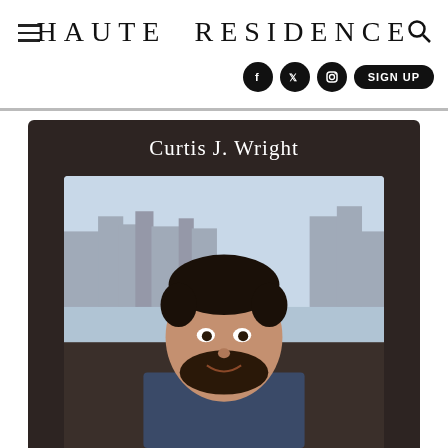Haute Residence
Curtis J. Wright
[Figure (photo): Headshot of Curtis J. Wright, a man with dark hair and beard wearing a suit, with a city skyline and water in the background]